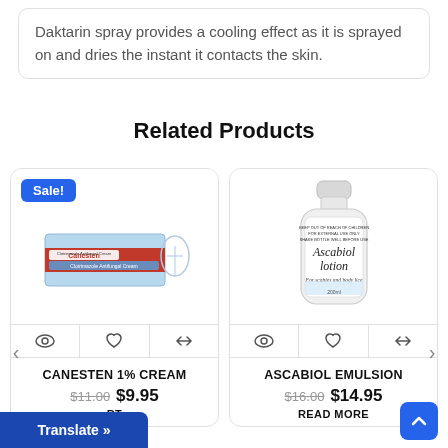Daktarin spray provides a cooling effect as it is sprayed on and dries the instant it contacts the skin.
Related Products
[Figure (photo): Canesten 1% Cream antifungal cream box with Sale! badge]
CANESTEN 1% CREAM
$11.00  $9.95
[Figure (photo): Ascabiol Emulsion lotion bottle for scabies and body lice]
ASCABIOL EMULSION
$16.00  $14.95